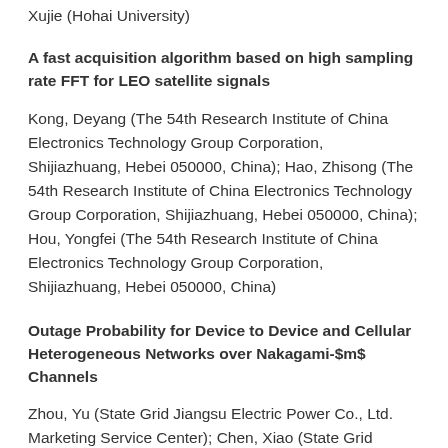Xujie (Hohai University)
A fast acquisition algorithm based on high sampling rate FFT for LEO satellite signals
Kong, Deyang (The 54th Research Institute of China Electronics Technology Group Corporation, Shijiazhuang, Hebei 050000, China); Hao, Zhisong (The 54th Research Institute of China Electronics Technology Group Corporation, Shijiazhuang, Hebei 050000, China); Hou, Yongfei (The 54th Research Institute of China Electronics Technology Group Corporation, Shijiazhuang, Hebei 050000, China)
Outage Probability for Device to Device and Cellular Heterogeneous Networks over Nakagami-$m$ Channels
Zhou, Yu (State Grid Jiangsu Electric Power Co., Ltd. Marketing Service Center); Chen, Xiao (State Grid Jiangsu